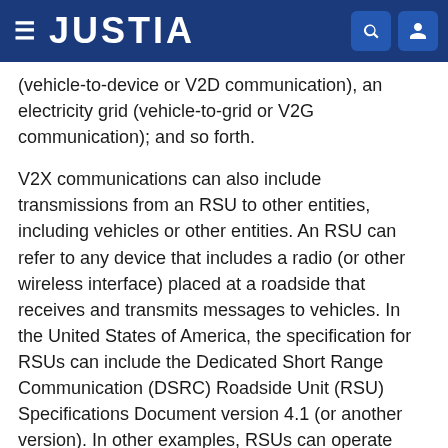JUSTIA
(vehicle-to-device or V2D communication), an electricity grid (vehicle-to-grid or V2G communication); and so forth.
V2X communications can also include transmissions from an RSU to other entities, including vehicles or other entities. An RSU can refer to any device that includes a radio (or other wireless interface) placed at a roadside that receives and transmits messages to vehicles. In the United States of America, the specification for RSUs can include the Dedicated Short Range Communication (DSRC) Roadside Unit (RSU) Specifications Document version 4.1 (or another version). In other examples, RSUs can operate according to other standards or using proprietary specifications.
More generally, V2X communications can include any